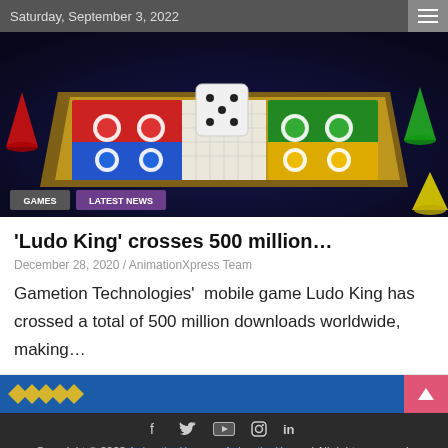Saturday, September 3, 2022
[Figure (photo): 3D rendered Ludo board game with colorful pieces (red, blue, green, yellow) and a dice on a dark background. Tags 'GAMES' and 'LATEST NEWS' overlay the bottom-left.]
'Ludo King' crosses 500 million...
December 28, 2020 / AnimationXpress Team
Gametion Technologies’  mobile game Ludo King has crossed a total of 500 million downloads worldwide, making…
Copyright © 2022 AnimationXpress   AnimationXpress| All rights reserved.